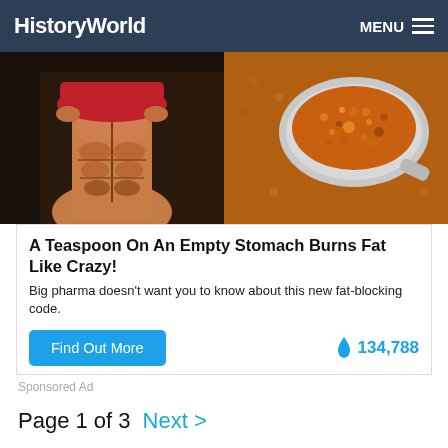HistoryWorld  MENU
[Figure (photo): Split image: left side shows a muscular person lifting their shirt to reveal abs, right side shows a spoon filled with orange spice/powder]
A Teaspoon On An Empty Stomach Burns Fat Like Crazy!
Big pharma doesn't want you to know about this new fat-blocking code.
Find Out More   🔥 134,788
Sponsored Ad
Page 1 of 3  Next >